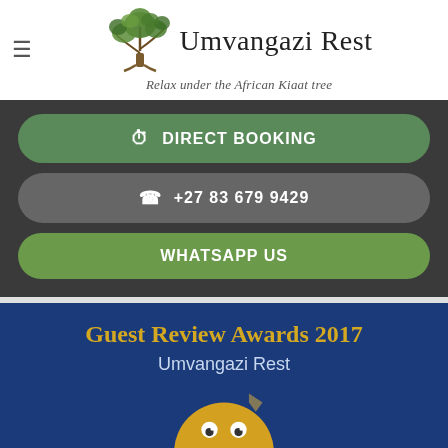Umvangazi Rest — Relax under the African Kiaat tree
DIRECT BOOKING
+27 83 679 9429
WHATSAPP US
[Figure (screenshot): Guest Review Awards 2017 banner with Umvangazi Rest text and a cartoon smiley face emoji on a dark blue background]